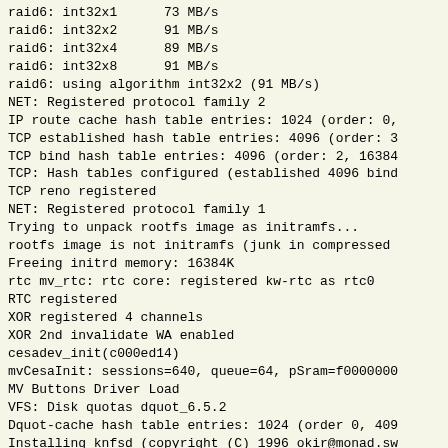raid6: int32x1      73 MB/s
raid6: int32x2      91 MB/s
raid6: int32x4      89 MB/s
raid6: int32x8      91 MB/s
raid6: using algorithm int32x2 (91 MB/s)
NET: Registered protocol family 2
IP route cache hash table entries: 1024 (order: 0,
TCP established hash table entries: 4096 (order: 3
TCP bind hash table entries: 4096 (order: 2, 16384
TCP: Hash tables configured (established 4096 bind
TCP reno registered
NET: Registered protocol family 1
Trying to unpack rootfs image as initramfs...
rootfs image is not initramfs (junk in compressed
Freeing initrd memory: 16384K
rtc mv_rtc: rtc core: registered kw-rtc as rtc0
RTC registered
XOR registered 4 channels
XOR 2nd invalidate WA enabled
cesadev_init(c000ed14)
mvCesaInit: sessions=640, queue=64, pSram=f0000000
MV Buttons Driver Load
VFS: Disk quotas dquot_6.5.2
Dquot-cache hash table entries: 1024 (order 0, 409
Installing knfsd (copyright (C) 1996 okir@monad.sw
JFFS2 version 2.2. (NAND) © 2001-2006 Red Hat, Inc
SGI XFS with security attributes, large block/inod
SGI XFS Quota Management subsystem
msgmni has been set to 229
alg: No test for cipher_null (cipher_null-generic)